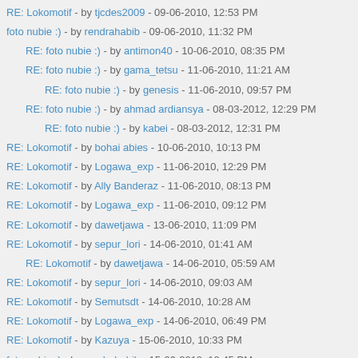RE: Lokomotif - by tjcdes2009 - 09-06-2010, 12:53 PM
foto nubie :) - by rendrahabib - 09-06-2010, 11:32 PM
RE: foto nubie :) - by antimon40 - 10-06-2010, 08:35 PM
RE: foto nubie :) - by gama_tetsu - 11-06-2010, 11:21 AM
RE: foto nubie :) - by genesis - 11-06-2010, 09:57 PM
RE: foto nubie :) - by ahmad ardiansya - 08-03-2012, 12:29 PM
RE: foto nubie :) - by kabei - 08-03-2012, 12:31 PM
RE: Lokomotif - by bohai abies - 10-06-2010, 10:13 PM
RE: Lokomotif - by Logawa_exp - 11-06-2010, 12:29 PM
RE: Lokomotif - by Ally Banderaz - 11-06-2010, 08:13 PM
RE: Lokomotif - by Logawa_exp - 11-06-2010, 09:12 PM
RE: Lokomotif - by dawetjawa - 13-06-2010, 11:09 PM
RE: Lokomotif - by sepur_lori - 14-06-2010, 01:41 AM
RE: Lokomotif - by dawetjawa - 14-06-2010, 05:59 AM
RE: Lokomotif - by sepur_lori - 14-06-2010, 09:03 AM
RE: Lokomotif - by Semutsdt - 14-06-2010, 10:28 AM
RE: Lokomotif - by Logawa_exp - 14-06-2010, 06:49 PM
RE: Lokomotif - by Kazuya - 15-06-2010, 10:33 PM
foto nubie :) - by rendrahabib - 15-06-2010, 10:45 PM
RE: Lokomotif - by Kazuya - 16-06-2010, 08:55 PM
RE: Lokomotif - by Semutsdt - 17-06-2010, 09:23 AM
RE: Lokomotif - by sepur_lori - 17-06-2010, 11:43 AM
RE: Lokomotif - by BAMBANG EKO - 19-06-2010, 12:04 PM
RE: Lokomotif - by sepur_lori - 19-06-2010, 03:59 PM
RE: Lokomotif - by ...